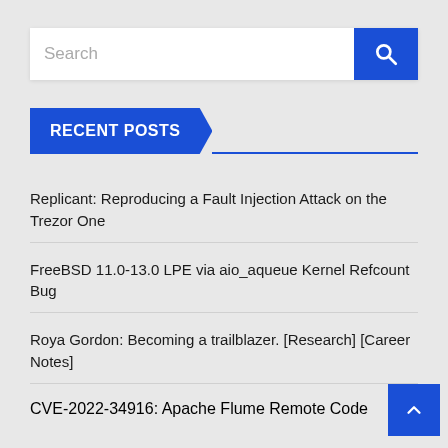[Figure (screenshot): Search input box with blue search button containing a magnifying glass icon]
RECENT POSTS
Replicant: Reproducing a Fault Injection Attack on the Trezor One
FreeBSD 11.0-13.0 LPE via aio_aqueue Kernel Refcount Bug
Roya Gordon: Becoming a trailblazer. [Research] [Career Notes]
CVE-2022-34916: Apache Flume Remote Code ...